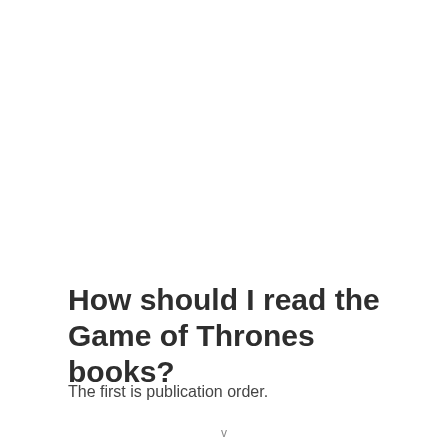How should I read the Game of Thrones books?
The first is publication order.
v